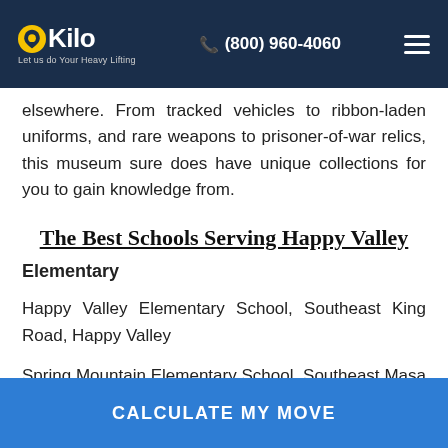Kilo | Let us do Your Heavy Lifting | (800) 960-4060
elsewhere. From tracked vehicles to ribbon-laden uniforms, and rare weapons to prisoner-of-war relics, this museum sure does have unique collections for you to gain knowledge from.
The Best Schools Serving Happy Valley
Elementary
Happy Valley Elementary School, Southeast King Road, Happy Valley
Spring Mountain Elementary School, Southeast Masa Lane, Happy Valley
CALCULATE MY MOVE